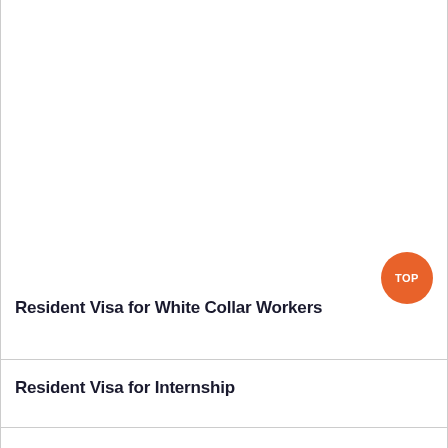[Figure (other): Large blank white content area with a 'TOP' orange circular button at bottom-right]
Resident Visa for White Collar Workers
Resident Visa for Internship
Resident Visa for Learning chinese